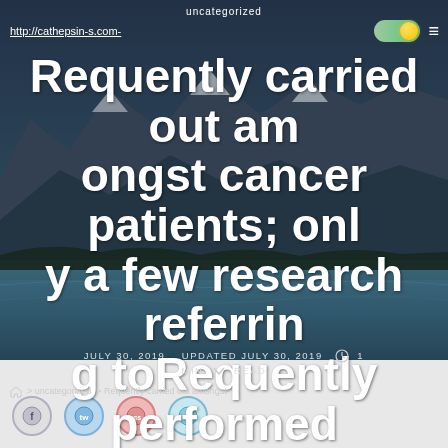uncategorized
http://cathepsin-s.com
Requently carried out amongst cancer patients; only a few research referring toRequently performed amongst cancer
JULY 30, 2019   UPDATED JULY 30, 2019   1 MIN READ
> uncategorized > Requently carried out amongst